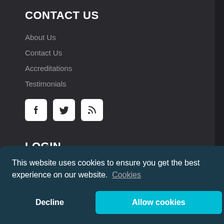CONTACT US
About Us
Contact Us
Accreditations
Testimonials
[Figure (other): Three social media icons: Facebook, Twitter, RSS feed in white rounded square buttons]
LOGIN
Control Panel
This website uses cookies to ensure you get the best experience on our website. Cookies
Decline  Allow cookies